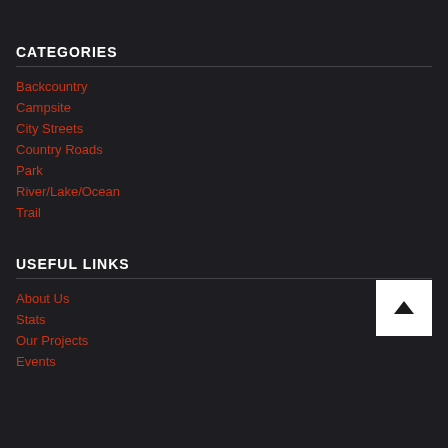CATEGORIES
Backcountry
Campsite
City Streets
Country Roads
Park
River/Lake/Ocean
Trail
USEFUL LINKS
About Us
Stats
Our Projects
Events